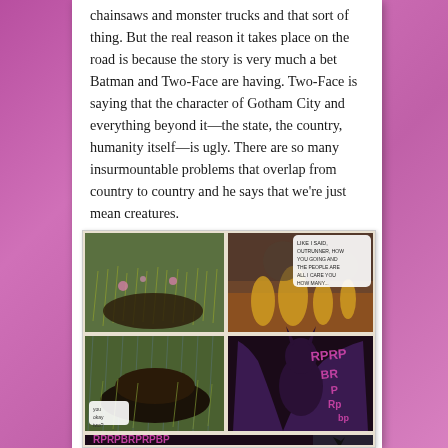chainsaws and monster trucks and that sort of thing. But the real reason it takes place on the road is because the story is very much a bet Batman and Two-Face are having. Two-Face is saying that the character of Gotham City and everything beyond it—the state, the country, humanity itself—is ugly. There are so many insurmountable problems that overlap from country to country and he says that we're just mean creatures.
[Figure (illustration): Four-panel comic book page excerpt showing dramatic scenes with grass/fire imagery and Batman character. Bottom strip shows 'RPRPBRPRPBP' sound effect text with Batman silhouette.]